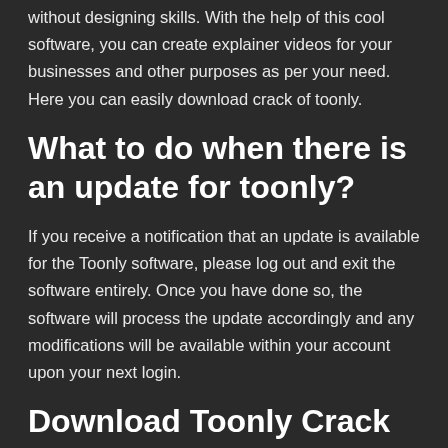without designing skills. With the help of this cool software, you can create explainer videos for your businesses and other purposes as per your need. Here you can easily download crack of toonly.
What to do when there is an update for toonly?
If you receive a notification that an update is available for the Toonly software, please log out and exit the software entirely. Once you have done so, the software will process the update accordingly and any modifications will be available within your account upon your next login.
Download Toonly Crack
By Cyber Center, Posted On January 26, 2021, I will give